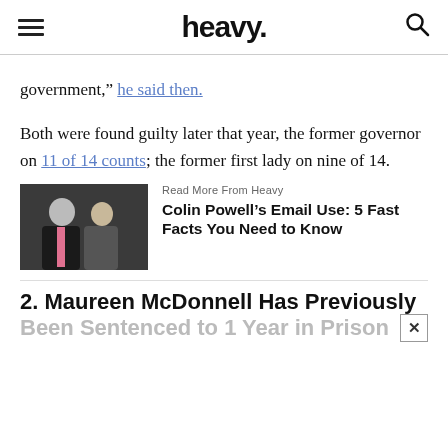heavy.
government,” he said then.
Both were found guilty later that year, the former governor on 11 of 14 counts; the former first lady on nine of 14.
[Figure (photo): Two people in formal attire, a man in a suit with a pink tie and a woman in grey, standing together]
Read More From Heavy
Colin Powell’s Email Use: 5 Fast Facts You Need to Know
2. Maureen McDonnell Has Previously Been Sentenced to 1 Year in Prison